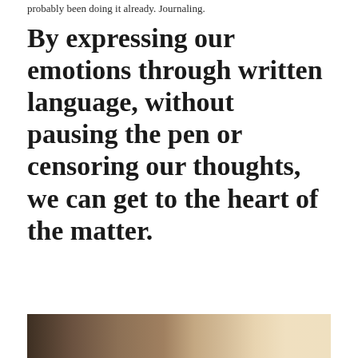probably been doing it already. Journaling.
By expressing our emotions through written language, without pausing the pen or censoring our thoughts, we can get to the heart of the matter.
[Figure (photo): Partial view of a photo showing what appears to be a desk or journaling scene with warm brown tones.]